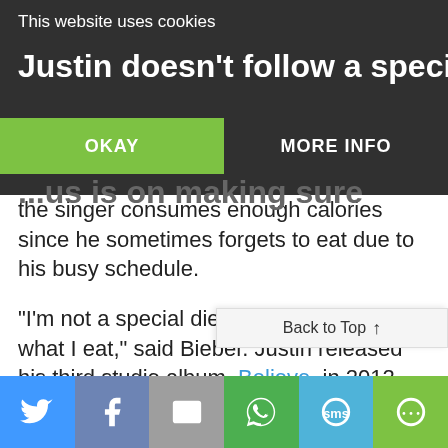This website uses cookies
Justin doesn't follow a special diet, and the focus is on making sure the singer consumes enough calories since he sometimes forgets to eat due to his busy schedule.
“I’m not a special diet, but I do try to watch what I eat,” said Bieber. Justin released his third studio album, Believe, in 2012.
Related: Tim McGraw is ripped to shreds at 47: His Paleo diet and Cro... Back to Top